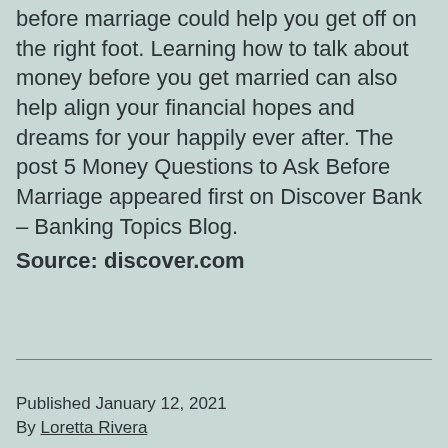before marriage could help you get off on the right foot. Learning how to talk about money before you get married can also help align your financial hopes and dreams for your happily ever after. The post 5 Money Questions to Ask Before Marriage appeared first on Discover Bank – Banking Topics Blog. Source: discover.com
Published January 12, 2021
By Loretta Rivera